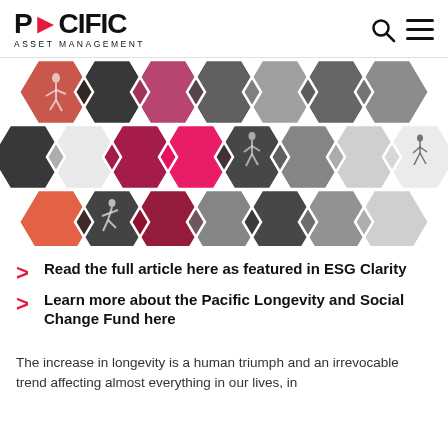PACIFIC ASSET MANAGEMENT
[Figure (illustration): Honeycomb grid of hexagonal images showing dancers and acrobats in black-and-white and colorized (red/pink/salmon) tones arranged in a honeycomb mosaic pattern.]
Read the full article here as featured in ESG Clarity
Learn more about the Pacific Longevity and Social Change Fund here
The increase in longevity is a human triumph and an irrevocable trend affecting almost everything in our lives, in